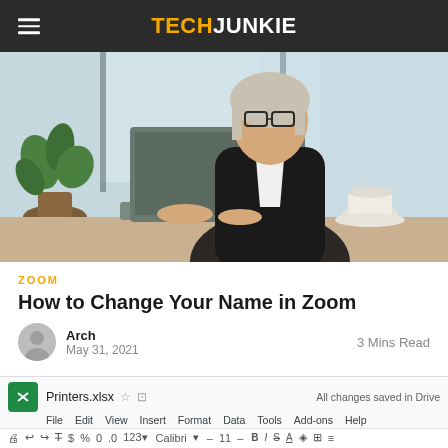TECHJUNKIE
[Figure (photo): Woman in black blazer working on a laptop at a cafe table with a coffee cup nearby and a plant in the background]
ZOOM
How to Change Your Name in Zoom
Arch
May 31, 2021
3 Mins Read
[Figure (screenshot): Google Sheets spreadsheet titled Printers.xlsx showing the menu bar with File, Edit, View, Insert, Format, Data, Tools, Add-ons, Help options and toolbar with formatting controls. Shows 'All changes saved in Drive' message.]